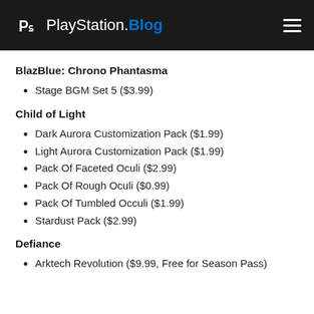PlayStation.Blog
BlazBlue: Chrono Phantasma
Stage BGM Set 5 ($3.99)
Child of Light
Dark Aurora Customization Pack ($1.99)
Light Aurora Customization Pack ($1.99)
Pack Of Faceted Oculi ($2.99)
Pack Of Rough Oculi ($0.99)
Pack Of Tumbled Occuli ($1.99)
Stardust Pack ($2.99)
Defiance
Arktech Revolution ($9.99, Free for Season Pass)